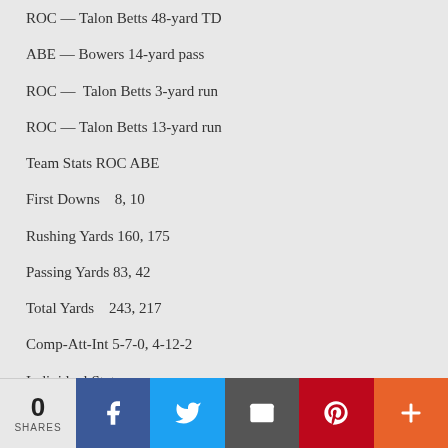ROC — Talon Betts 48-yard TD
ABE — Bowers 14-yard pass
ROC —  Talon Betts 3-yard run
ROC — Talon Betts 13-yard run
Team Stats ROC ABE
First Downs    8, 10
Rushing Yards 160, 175
Passing Yards 83, 42
Total Yards    243, 217
Comp-Att-Int 5-7-0, 4-12-2
Individual Stats
0 SHARES [Facebook] [Twitter] [Email] [Pinterest] [More]